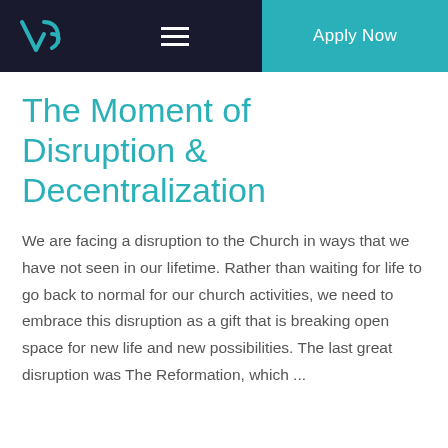V3 | Apply Now
The Moment of Disruption & Decentralization
We are facing a disruption to the Church in ways that we have not seen in our lifetime. Rather than waiting for life to go back to normal for our church activities, we need to embrace this disruption as a gift that is breaking open space for new life and new possibilities. The last great disruption was The Reformation, which ...